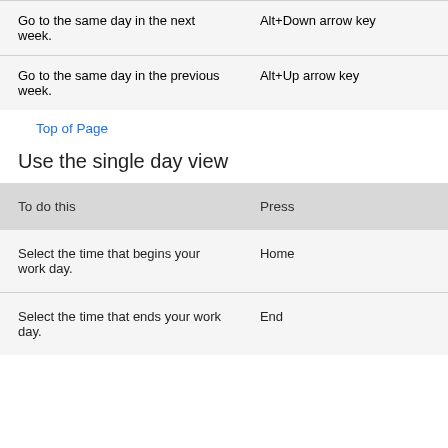| To do this | Press |
| --- | --- |
| Go to the same day in the next week. | Alt+Down arrow key |
| Go to the same day in the previous week. | Alt+Up arrow key |
Top of Page
Use the single day view
| To do this | Press |
| --- | --- |
| Select the time that begins your work day. | Home |
| Select the time that ends your work day. | End |